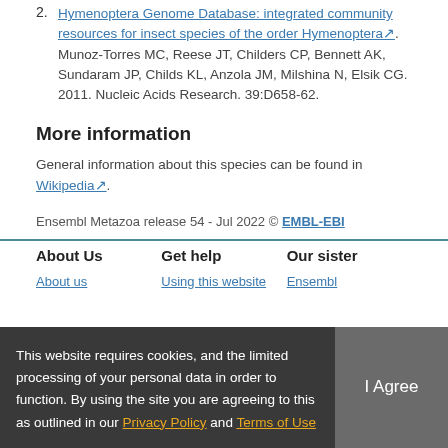2. Hymenoptera Genome Database: integrated community resources for insect species of the order Hymenoptera. Munoz-Torres MC, Reese JT, Childers CP, Bennett AK, Sundaram JP, Childs KL, Anzola JM, Milshina N, Elsik CG. 2011. Nucleic Acids Research. 39:D658-62.
More information
General information about this species can be found in Wikipedia.
Ensembl Metazoa release 54 - Jul 2022 © EMBL-EBI
About Us | Get help | Our sister | About us | Using this website | Ensembl
This website requires cookies, and the limited processing of your personal data in order to function. By using the site you are agreeing to this as outlined in our Privacy Policy and Terms of Use